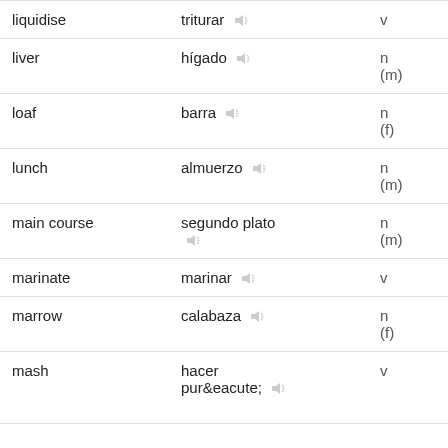| English | Spanish | Part of speech | Extra |
| --- | --- | --- | --- |
| liquidise | triturar | v |  |
| liver | hígado | n (m) |  |
| loaf | barra | n (f) |  |
| lunch | almuerzo | n (m) |  |
| main course | segundo plato | n (m) |  |
| marinate | marinar | v |  |
| marrow | calabaza | n (f) |  |
| mash | hacer puré | v | hacer puré conjugations |